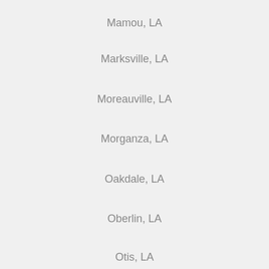Mamou, LA
Marksville, LA
Moreauville, LA
Morganza, LA
Oakdale, LA
Oberlin, LA
Otis, LA